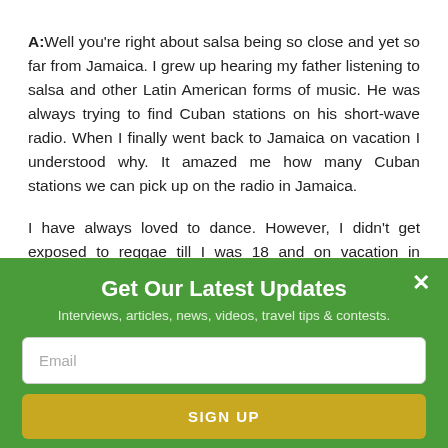A: Well you're right about salsa being so close and yet so far from Jamaica. I grew up hearing my father listening to salsa and other Latin American forms of music. He was always trying to find Cuban stations on his short-wave radio. When I finally went back to Jamaica on vacation I understood why. It amazed me how many Cuban stations we can pick up on the radio in Jamaica.
I have always loved to dance. However, I didn't get exposed to reggae till I was 18 and on vacation in Jamaica
Get Our Latest Updates
Interviews, articles, news, videos, travel tips & contests.